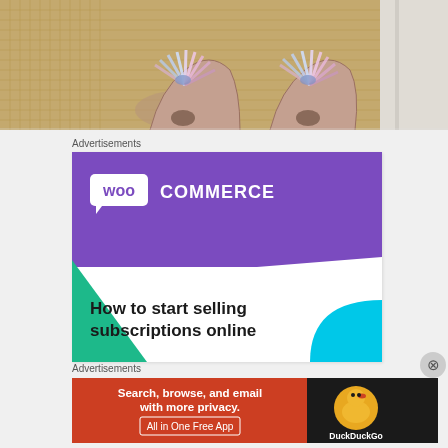[Figure (photo): Close-up photo of feet wearing metallic/holographic silver-pink strappy heeled sandals on a woven beige/tan rug or mat surface. A white wall or door frame is visible on the right edge.]
Advertisements
[Figure (screenshot): WooCommerce advertisement banner with purple background showing WooCommerce logo, green and cyan geometric triangle/arc shapes, and text 'How to start selling subscriptions online']
Advertisements
[Figure (screenshot): DuckDuckGo advertisement: red left panel with text 'Search, browse, and email with more privacy. All in One Free App', dark right panel with DuckDuckGo duck logo and brand name.]